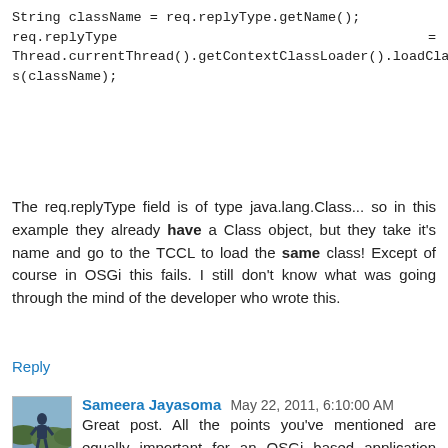String className = req.replyType.getName();
req.replyType                                  =
Thread.currentThread().getContextClassLoader().loadClass(className);
The req.replyType field is of type java.lang.Class... so in this example they already have a Class object, but they take it's name and go to the TCCL to load the same class! Except of course in OSGi this fails. I still don't know what was going through the mind of the developer who wrote this.
Reply
Sameera Jayasoma  May 22, 2011, 6:10:00 AM
Great post. All the points you've mentioned are equally important for an OSGi based application developer. Because some times we end up using third party libraries in our applications and these libraries are not OSGi compliant, hence contains most of the hacks you've mentioned. We've faced enough issues due these class loader hacks used in